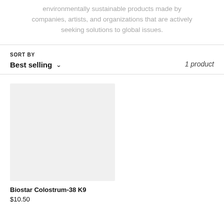environmentally sustainable products made by companies, artists, and organizations that are actively seeking solutions to global issues.
SORT BY
Best selling
1 product
[Figure (photo): Product image placeholder - light grey rectangle for Biostar Colostrum-38 K9]
Biostar Colostrum-38 K9
$10.50